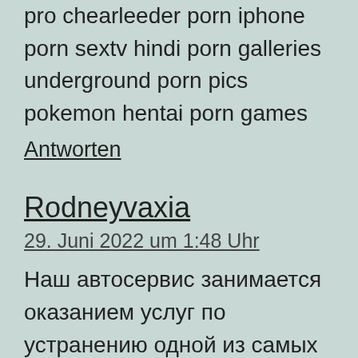pro chearleeder porn iphone porn sextv hindi porn galleries underground porn pics pokemon hentai porn games
Antworten
Rodneyvaxia
29. Juni 2022 um 1:48 Uhr
Наш автосервис занимается оказанием услуг по устранению одной из самых частых неисправностей автомобилей — ремонт сцепления или замена сцепления в Москве.